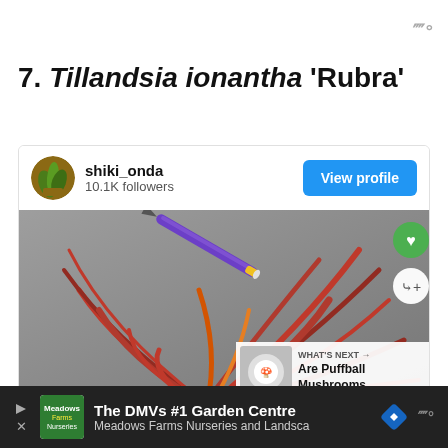W°
7. Tillandsia ionantha 'Rubra'
[Figure (screenshot): Social media card showing user shiki_onda with 10.1K followers and a View profile button, with a photo of a red air plant (Tillandsia ionantha Rubra) with a blue pen for scale. Overlay shows 'WHAT'S NEXT → Are Puffball Mushrooms...' with a thumbnail.]
The DMVs #1 Garden Centre — Meadows Farms Nurseries and Landsca — W°